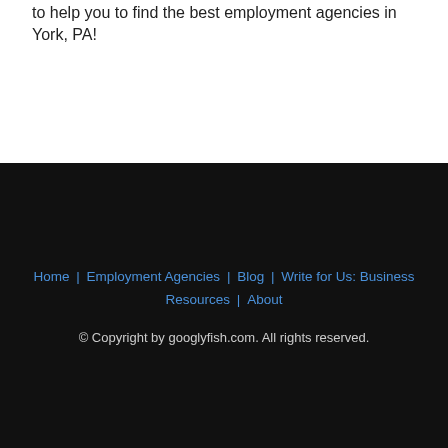to help you to find the best employment agencies in York, PA!
Home | Employment Agencies | Blog | Write for Us: Business | Resources | About
© Copyright by googlyfish.com. All rights reserved.